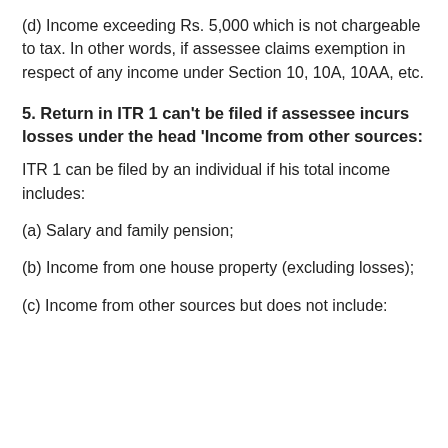(d) Income exceeding Rs. 5,000 which is not chargeable to tax. In other words, if assessee claims exemption in respect of any income under Section 10, 10A, 10AA, etc.
5. Return in ITR 1 can't be filed if assessee incurs losses under the head 'Income from other sources:
ITR 1 can be filed by an individual if his total income includes:
(a) Salary and family pension;
(b) Income from one house property (excluding losses);
(c) Income from other sources but does not include: